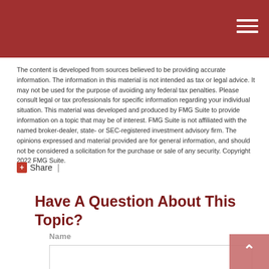The content is developed from sources believed to be providing accurate information. The information in this material is not intended as tax or legal advice. It may not be used for the purpose of avoiding any federal tax penalties. Please consult legal or tax professionals for specific information regarding your individual situation. This material was developed and produced by FMG Suite to provide information on a topic that may be of interest. FMG Suite is not affiliated with the named broker-dealer, state- or SEC-registered investment advisory firm. The opinions expressed and material provided are for general information, and should not be considered a solicitation for the purchase or sale of any security. Copyright 2022 FMG Suite.
+ Share  |
Have A Question About This Topic?
Name